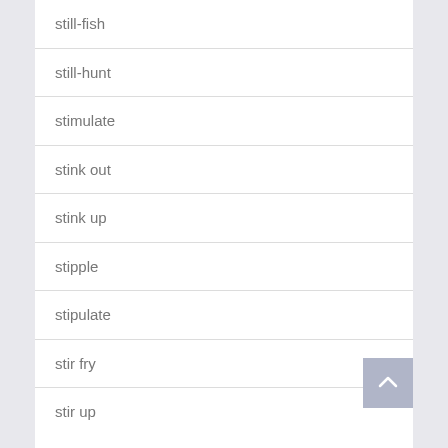still-fish
still-hunt
stimulate
stink out
stink up
stipple
stipulate
stir fry
stir up